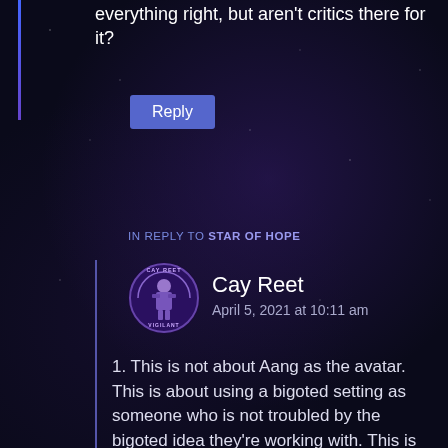everything right, but aren't critics there for it?
Reply
IN REPLY TO STAR OF HOPE
[Figure (logo): Cay Reet Vigilant circular avatar logo with purple background]
Cay Reet
April 5, 2021 at 10:11 am
1. This is not about Aang as the avatar. This is about using a bigoted setting as someone who is not troubled by the bigoted idea they're working with. This is me as a white woman telling the story of a POC character, diving deep into the constant troubles they face for not being white, for example